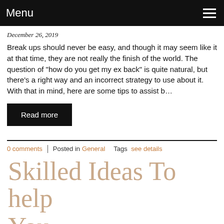Menu
December 26, 2019
Break ups should never be easy, and though it may seem like it at that time, they are not really the finish of the world. The question of "how do you get my ex back" is quite natural, but there's a right way and an incorrect strategy to use about it. With that in mind, here are some tips to assist b…
Read more
0 comments | Posted in General  Tags see details
Skilled Ideas To help You…